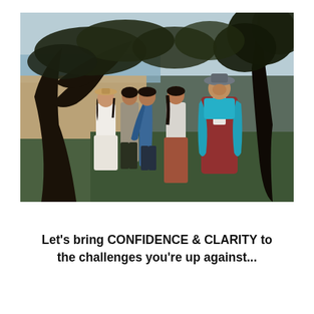[Figure (photo): Five women standing outdoors near trees with a beach/ocean visible in the background. The women are looking upward. One wears a white dress and hat, another wears a blue shawl, and the foreground figure wears a bright turquoise scarf and red jacket with a grey hat.]
Let's bring CONFIDENCE & CLARITY to the challenges you're up against...